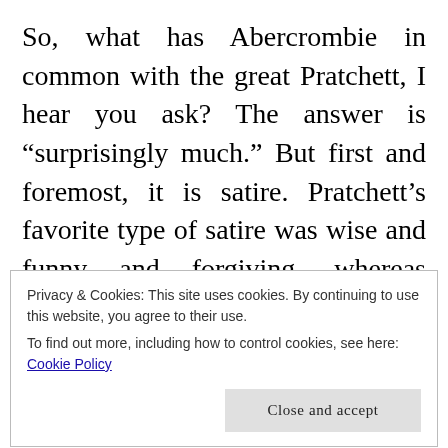So, what has Abercrombie in common with the great Pratchett, I hear you ask? The answer is “surprisingly much.” But first and foremost, it is satire. Pratchett’s favorite type of satire was wise and funny and forgiving, whereas Abercrombie delights in the sharp and painful and merciless, but both writers intentionally chose to portray – and enlarge – the flaws of our own world in their imagined ones. Banks and credits, merchants, and
Privacy & Cookies: This site uses cookies. By continuing to use this website, you agree to their use.
To find out more, including how to control cookies, see here: Cookie Policy
Close and accept
the name). Yes, Abercrombie stands on